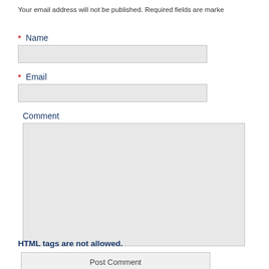Your email address will not be published. Required fields are marked
* Name
* Email
Comment
HTML tags are not allowed.
Post Comment